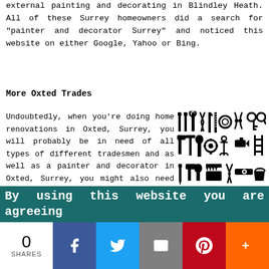external painting and decorating in Blindley Heath. All of these Surrey homeowners did a search for "painter and decorator Surrey" and noticed this website on either Google, Yahoo or Bing.
More Oxted Trades
Undoubtedly, when you're doing home renovations in Oxted, Surrey, you will probably be in need of all types of different tradesmen and as well as a painter and decorator in Oxted, Surrey, you might also need door painting in Oxted, a plasterer in Oxted, a handyman in Oxted, an emergency locksmith in Oxted, a plumber in Oxted, a bricklayer in Oxted, a carpenter in Oxted, metalworkers in Oxted, a roofer in Oxted, waste removal in Oxted, a tiler in Oxted, wallpapering in Oxted, an electrician in Oxted, damp/mould control in Oxted, a window fitter in Oxted, a building contractor in Oxted, a flooring specialist in Oxted, SKIP HIRE in Oxted, and other different Oxted tradesmen.
[Figure (illustration): Black and white icons of various tools and tradesmen equipment]
By using this website you are agreeing
0 SHARES [Facebook] [Twitter] [Email] [Pinterest] [More]